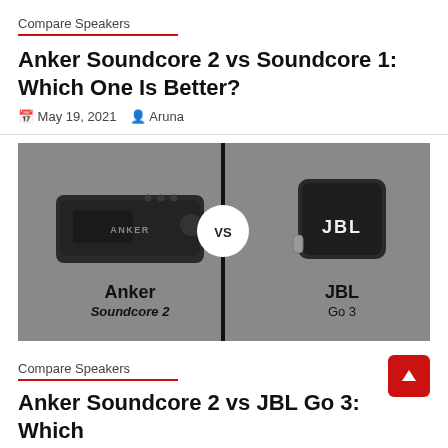Compare Speakers
Anker Soundcore 2 vs Soundcore 1: Which One Is Better?
May 19, 2021  Aruna
[Figure (illustration): Side-by-side comparison image showing Anker Soundcore 2 speaker on the left (gray background) and JBL Go 3 speaker on the right (gray background), separated by a vertical black divider with a white circle 'VS' in the center. Labels below each speaker read 'Anker Soundcore 2' and 'JBL Go 3'.]
Compare Speakers
Anker Soundcore 2 vs JBL Go 3: Which